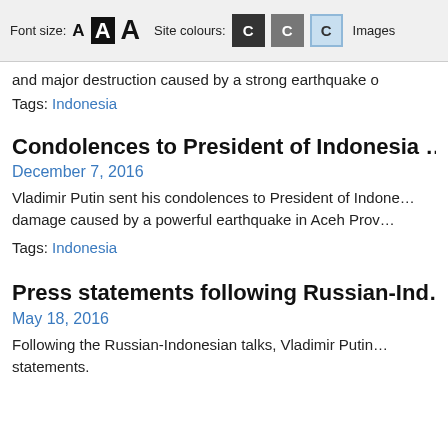Font size: A A A  Site colours: C C C  Images
and major destruction caused by a strong earthquake o
Tags: Indonesia
Condolences to President of Indonesia ...
December 7, 2016
Vladimir Putin sent his condolences to President of Indo... damage caused by a powerful earthquake in Aceh Prov...
Tags: Indonesia
Press statements following Russian-Ind...
May 18, 2016
Following the Russian-Indonesian talks, Vladimir Putin... statements.